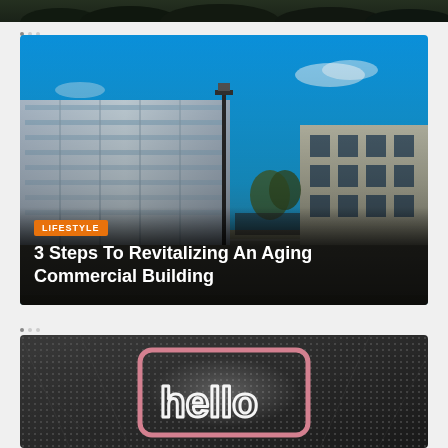[Figure (photo): Partial top image strip, dark/nature scene cropped]
[Figure (photo): Commercial buildings with blue sky, street view; overlay text reads LIFESTYLE tag and article title '3 Steps To Revitalizing An Aging Commercial Building']
LIFESTYLE
3 Steps To Revitalizing An Aging Commercial Building
[Figure (photo): Dark background with neon-style 'hello' sign illuminated, pink frame border visible]